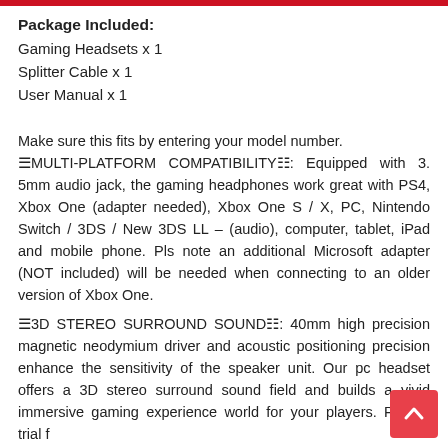Package Included:
Gaming Headsets x 1
Splitter Cable x 1
User Manual x 1
Make sure this fits by entering your model number. 🔲MULTI-PLATFORM COMPATIBILITY🔲: Equipped with 3. 5mm audio jack, the gaming headphones work great with PS4, Xbox One (adapter needed), Xbox One S / X, PC, Nintendo Switch / 3DS / New 3DS LL – (audio), computer, tablet, iPad and mobile phone. Pls note an additional Microsoft adapter (NOT included) will be needed when connecting to an older version of Xbox One.
🔲3D STEREO SURROUND SOUND🔲: 40mm high precision magnetic neodymium driver and acoustic positioning precision enhance the sensitivity of the speaker unit. Our pc headset offers a 3D stereo surround sound field and builds a vivid immersive gaming world for your players. Perfect trial for gaming...